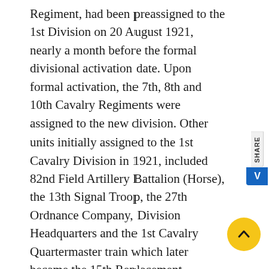Regiment, had been preassigned to the 1st Division on 20 August 1921, nearly a month before the formal divisional activation date. Upon formal activation, the 7th, 8th and 10th Cavalry Regiments were assigned to the new division. Other units initially assigned to the 1st Cavalry Division in 1921, included 82nd Field Artillery Battalion (Horse), the 13th Signal Troop, the 27th Ordnance Company, Division Headquarters and the 1st Cavalry Quartermaster train which later became the 15th Replacement Company. Major Robert L. Howze was assigned as the first division commander. The 5th Cavalry Regiment was assigned on 18 December 1922, relieving the 10th Cavalry Regiment. In subsequent years, the 12th Cavalry Regiment would be assigned to the 1st Cavalry Division on 03 January 1933, relieving the 1st Cavalry Regiment.